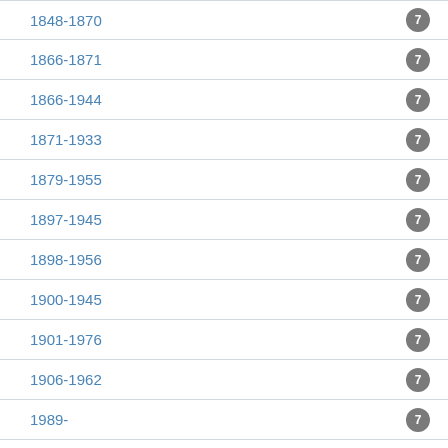1848-1870
1866-1871
1866-1944
1871-1933
1879-1955
1897-1945
1898-1956
1900-1945
1901-1976
1906-1962
1989-